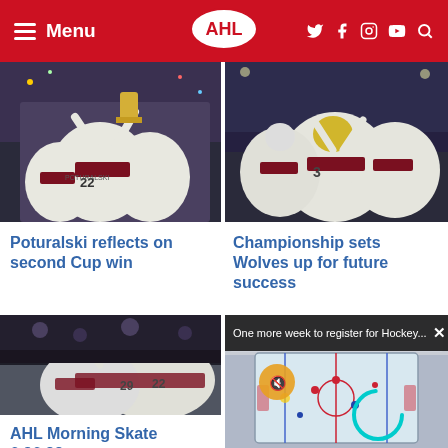AHL Menu navigation with logo and social icons
[Figure (photo): Hockey players in white and maroon jerseys celebrating with a trophy, crowded on ice]
Poturalski reflects on second Cup win
[Figure (photo): Hockey players in white and maroon jerseys celebrating, one removing helmet]
Championship sets Wolves up for future success
[Figure (photo): Hockey players huddled together celebrating on ice in maroon and white uniforms]
AHL Morning Skate 6.26.22
[Figure (photo): Aerial view of outdoor hockey rink with players on ice, video player overlay with notification]
One more week to register for Hockey...